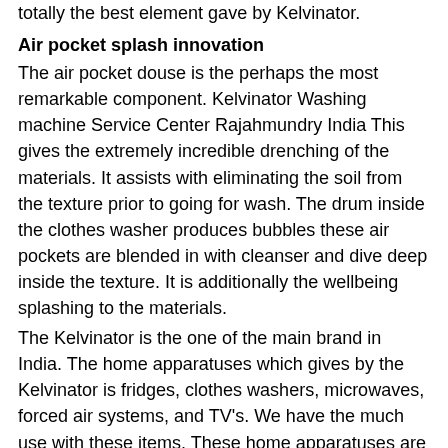totally the best element gave by Kelvinator.
Air pocket splash innovation
The air pocket douse is the perhaps the most remarkable component. Kelvinator Washing machine Service Center Rajahmundry India This gives the extremely incredible drenching of the materials. It assists with eliminating the soil from the texture prior to going for wash. The drum inside the clothes washer produces bubbles these air pockets are blended in with cleanser and dive deep inside the texture. It is additionally the wellbeing splashing to the materials.
The Kelvinator is the one of the main brand in India. The home apparatuses which gives by the Kelvinator is fridges, clothes washers, microwaves, forced air systems, and TV's. We have the much use with these items. These home apparatuses are turned into the one of the piece of our day by day life. The different items have their different positions. These items have the top of the line rate on the lookout.
Kelvinator Refrigerator
The fridges are consistently assumes a significant job in